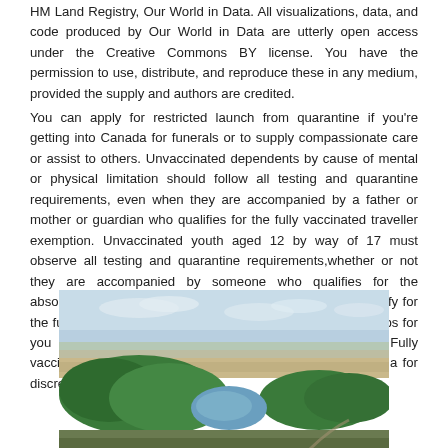HM Land Registry, Our World in Data. All visualizations, data, and code produced by Our World in Data are utterly open access under the Creative Commons BY license. You have the permission to use, distribute, and reproduce these in any medium, provided the supply and authors are credited.
You can apply for restricted launch from quarantine if you're getting into Canada for funerals or to supply compassionate care or assist to others. Unvaccinated dependents by cause of mental or physical limitation should follow all testing and quarantine requirements, even when they are accompanied by a father or mother or guardian who qualifies for the fully vaccinated traveller exemption. Unvaccinated youth aged 12 by way of 17 must observe all testing and quarantine requirements,whether or not they are accompanied by someone who qualifies for the absolutely vaccinated traveller exemption. Check if you qualify for the fully vaccinated traveller exemption, and observe the steps for you and for accompanying youngsters and dependents. Fully vaccinated overseas nationals may be allowed enter Canada for discretionary travel.
[Figure (photo): Aerial photograph of a coastal or wetland landscape showing green forested areas, a small lake or pond, sandy/muddy flats, and water in the background under a partly cloudy sky.]